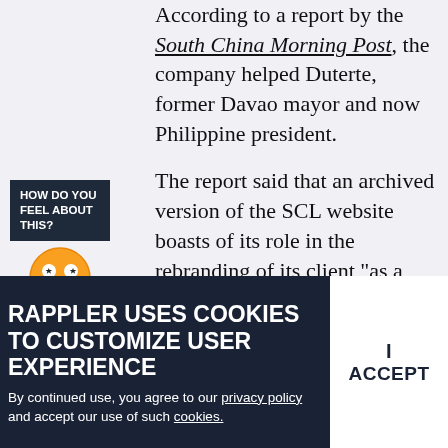According to a report by the South China Morning Post, the company helped Duterte, former Davao mayor and now Philippine president.
[Figure (illustration): Sidebar widget with dark navy label reading 'HOW DO YOU FEEL ABOUT THIS?' followed by an orange inspired emoji face with label 'INSPIRED' and a yellow happy/laughing emoji face below it.]
The report said that an archived version of the SCL website boasts of its role in the rebranding of its client “as a strong, no-nonsense man of action, who would appeal to the true values of the voters.”
While Duterte...
RAPPLER USES COOKIES TO CUSTOMIZE USER EXPERIENCE
By continued use, you agree to our privacy policy and accept our use of such cookies.
I ACCEPT